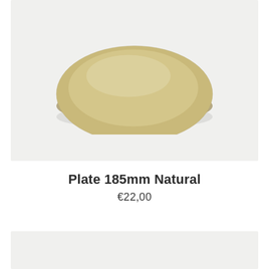[Figure (photo): A round ceramic plate in natural/tan beige color, shown from a slightly elevated angle. The plate has a shallow rim and a matte finish, photographed on a light grey background.]
Plate 185mm Natural
€22,00
[Figure (photo): Partial view of another product card at the bottom of the page, showing only the top portion of a light grey background.]